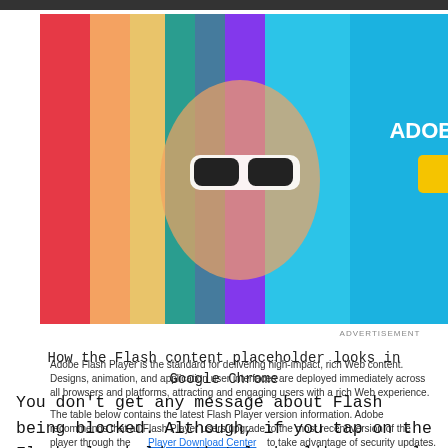[Figure (screenshot): Screenshot of a web browser showing an Adobe Stock advertisement featuring a woman with colorful rainbow hair and sunglasses, text 'GET 10 FREE ADOBE STOCK IMAGES.' with a yellow 'Start now' button, and below it a gray placeholder puzzle piece icon with a red arrow pointing to it, representing a Flash content placeholder in Google Chrome.]
How the Flash content placeholder looks in Google Chrome
You don’t get any message about Flash being blocked. Although, if you tap on the Flash placeholder that looks like a puzzle piece, you get a pop-up that will ask whether you want to run Flash or not. Tap Allow and the